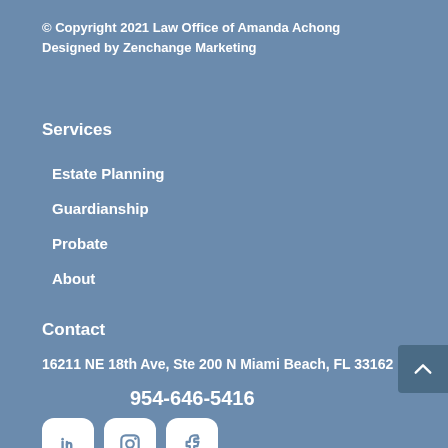© Copyright 2021 Law Office of Amanda Achong
Designed by Zenchange Marketing
Services
Estate Planning
Guardianship
Probate
About
Contact
16211 NE 18th Ave, Ste 200 N Miami Beach, FL 33162
954-646-5416
[Figure (illustration): Social media icons for LinkedIn, Instagram, and Facebook as white rounded square buttons on blue background]